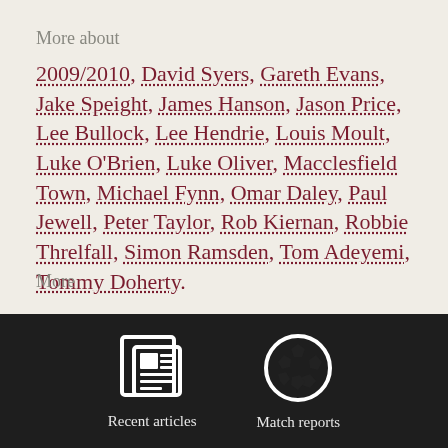More about
2009/2010, David Syers, Gareth Evans, Jake Speight, James Hanson, Jason Price, Lee Bullock, Lee Hendrie, Louis Moult, Luke O'Brien, Luke Oliver, Macclesfield Town, Michael Fynn, Omar Daley, Paul Jewell, Peter Taylor, Rob Kiernan, Robbie Threlfall, Simon Ramsden, Tom Adeyemi, Tommy Doherty.
More
[Figure (illustration): White newspaper/article icon and white soccer ball icon on dark background, labeled 'Recent articles' and 'Match reports']